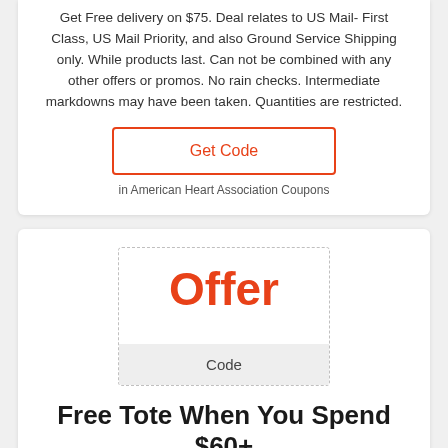Get Free delivery on $75. Deal relates to US Mail- First Class, US Mail Priority, and also Ground Service Shipping only. While products last. Can not be combined with any other offers or promos. No rain checks. Intermediate markdowns may have been taken. Quantities are restricted.
Get Code
in American Heart Association Coupons
[Figure (other): Coupon box with 'Offer' text in red and a 'Code' bar at the bottom]
Free Tote When You Spend $60+
Get Free lug when you invest $60+